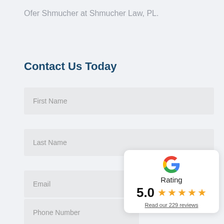Ofer Shmucher at Shmucher Law, PL.
Contact Us Today
First Name
Last Name
Email
Phone Number
[Figure (infographic): Google Rating card showing 5.0 stars with 229 reviews]